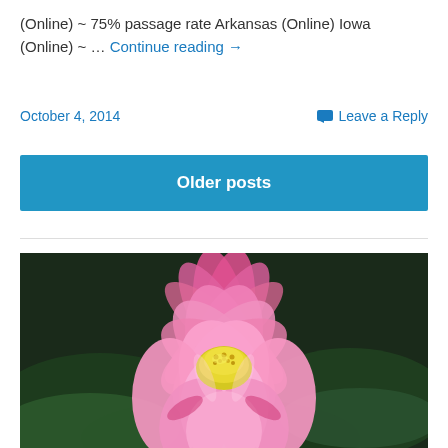(Online) ~ passage rate Arkansas (Online) Iowa (Online) ~ ... Continue reading →
October 4, 2014    Leave a Reply
Older posts
[Figure (photo): A pink lotus flower in full bloom with yellow center stamens, set against a dark green background with large lily pads visible.]